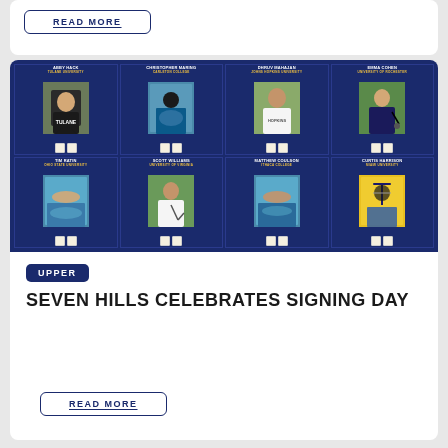READ MORE
[Figure (photo): Grid of 8 athlete signing day cards showing student athletes from various universities including Tulane University, Carleton College, Johns Hopkins University, University of Rochester, Ohio State University, University of Virginia, Ithaca College, and Miami University]
UPPER
SEVEN HILLS CELEBRATES SIGNING DAY
READ MORE